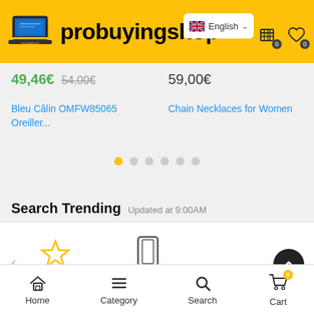[Figure (screenshot): probuyingshop e-commerce website header with yellow background, laptop logo, brand name, English language selector, cart and wishlist icons]
49,46€  54,00€
59,00€
Bleu Câlin OMFW85065 Oreiller...
Chain Necklaces for Women
Search Trending  Updated at 9:00AM
[Figure (infographic): Category carousel with Hot Trending (star icon) and Cell Phones (phone icon) categories, left arrow navigation, scroll-to-top button]
Home  Category  Search  Cart